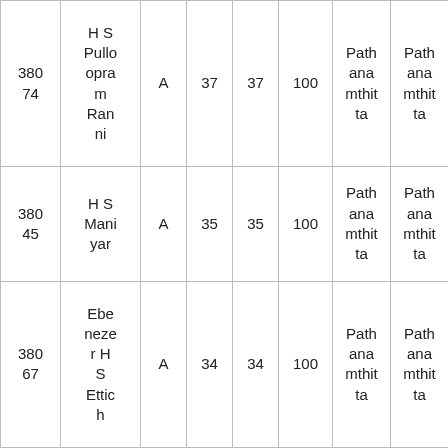| 380
74 | H S Pulloopram Ranni | A | 37 | 37 | 100 | Pathanamthitta | Pathanamthitta |
| 380
45 | H S Maniyar | A | 35 | 35 | 100 | Pathanamthitta | Pathanamthitta |
| 380
67 | Ebenezer H S Ettic... | A | 34 | 34 | 100 | Pathanamthitta | Pathanamthitta |